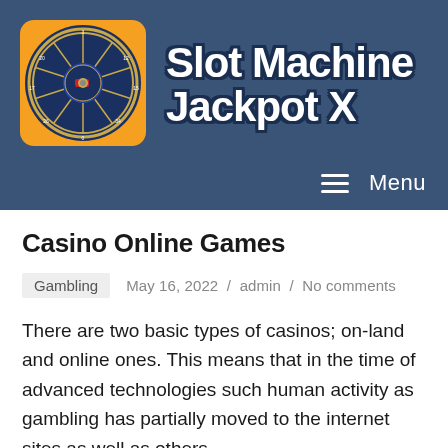[Figure (logo): Slot Machine Jackpot X website logo with roulette wheel on orange/blue background and site title text]
Menu
Casino Online Games
Gambling   May 16, 2022 / admin / No comments
There are two basic types of casinos; on-land and online ones. This means that in the time of advanced technologies such human activity as gambling has partially moved to the internet sites as well as others